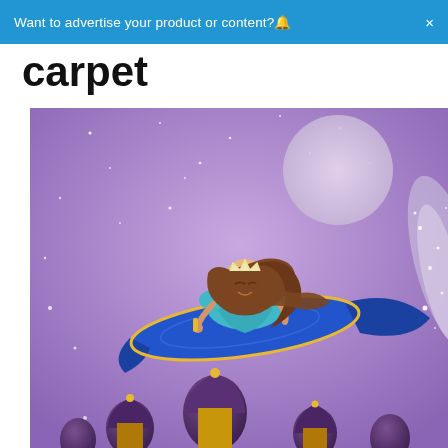Want to advertise your product or content?🔔  ×
carpet
[Figure (illustration): Illustration of a princess with long brown hair wearing a teal dress and crown, lying on a blue magic flying carpet with gold trim, flying over purple onion-domed palace towers against a purple night sky with stars and a large pale moon. A sparkly silver/glitter trail extends from the carpet.]